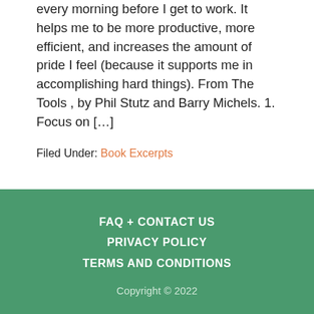every morning before I get to work. It helps me to be more productive, more efficient, and increases the amount of pride I feel (because it supports me in accomplishing hard things). From The Tools , by Phil Stutz and Barry Michels. 1. Focus on […]
Filed Under: Book Excerpts
FAQ + CONTACT US
PRIVACY POLICY
TERMS AND CONDITIONS
Copyright © 2022